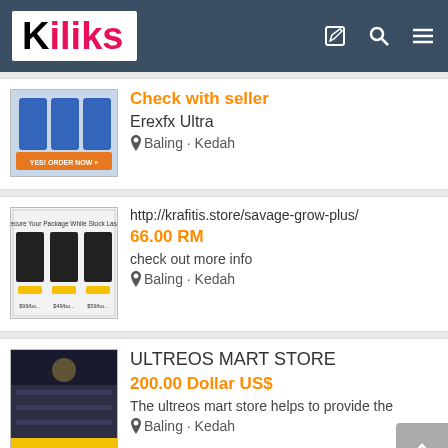Kiliks
Check with seller
Erexfx Ultra
Baling · Kedah
http://krafitis.store/savage-grow-plus/
66.00 RM
check out more info
Baling · Kedah
ULTREOS MART STORE
200.00 Dollar US$
The ultreos mart store helps to provide the
Baling · Kedah